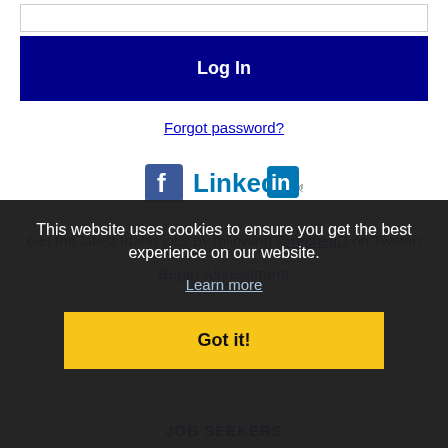[Figure (screenshot): Input box at top of login form]
Log In
Forgot password?
[Figure (logo): Facebook and LinkedIn social login icons]
Get the latest Idaho jobs by following @recnetID on Twitter!
Begin Assessment
This website uses cookies to ensure you get the best experience on our website.
Learn more
Got it!
JOB SEEKERS